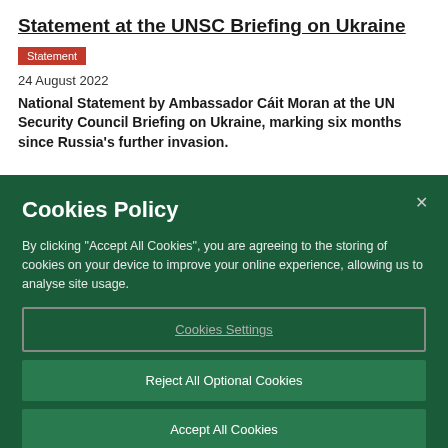Statement at the UNSC Briefing on Ukraine
Statement
24 August 2022
National Statement by Ambassador Cáit Moran at the UN Security Council Briefing on Ukraine, marking six months since Russia's further invasion.
Cookies Policy
By clicking “Accept All Cookies”, you are agreeing to the storing of cookies on your device to improve your online experience, allowing us to analyse site usage.
Cookies Settings
Reject All Optional Cookies
Accept All Cookies